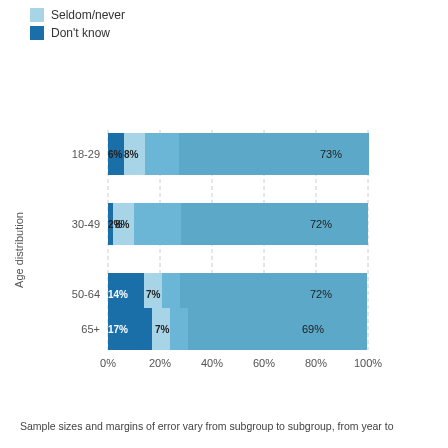[Figure (stacked-bar-chart): Age distribution]
Sample sizes and margins of error vary from subgroup to subgroup, from year to